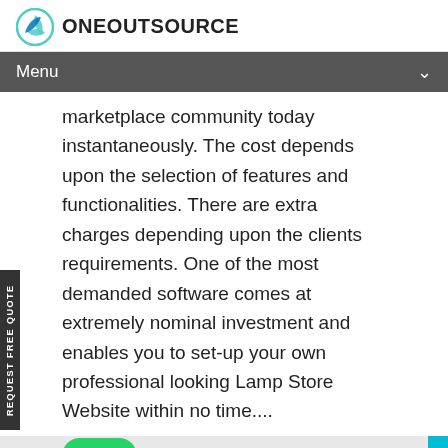ONEOUTSOURCE
Menu
marketplace community today instantaneously. The cost depends upon the selection of features and functionalities. There are extra charges depending upon the clients requirements. One of the most demanded software comes at extremely nominal investment and enables you to set-up your own professional looking Lamp Store Website within no time....
[Figure (infographic): WhatsApp Order button and READY TO LAUNCH WEBSITE banner with rocket icons]
Architects | Astrologer | Auction Script | B2B Marketplace... | Babysitter | Buy and sell... | Buy Sell Property |